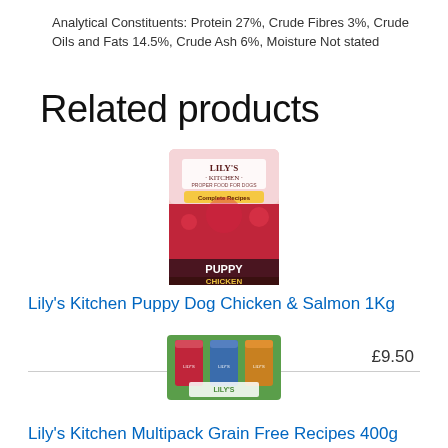Analytical Constituents: Protein 27%, Crude Fibres 3%, Crude Oils and Fats 14.5%, Crude Ash 6%, Moisture Not stated
Related products
[Figure (photo): Lily's Kitchen Puppy Dog Chicken & Salmon 1Kg product bag - pink packaging with puppy imagery]
Lily's Kitchen Puppy Dog Chicken & Salmon 1Kg
£9.50
[Figure (photo): Lily's Kitchen Multipack Grain Free Recipes 400g - green multipack box with multiple tins]
Lily's Kitchen Multipack Grain Free Recipes 400g